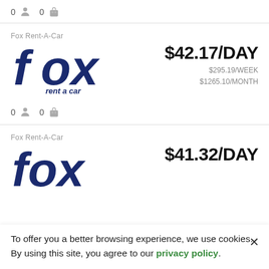0 [person icon] 0 [bag icon]
[Figure (logo): Fox Rent-A-Car logo, dark blue stylized text 'fox rent a car']
Fox Rent-A-Car
$42.17/DAY
$295.19/WEEK
$1265.10/MONTH
0 [person icon] 0 [bag icon]
[Figure (logo): Fox Rent-A-Car logo, dark blue stylized text 'fox' partially shown]
Fox Rent-A-Car
$41.32/DAY
To offer you a better browsing experience, we use cookies. By using this site, you agree to our privacy policy.